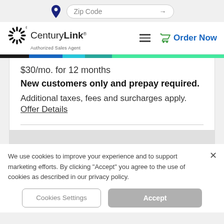Zip Code
[Figure (logo): CenturyLink Authorized Sales Agent logo with sunburst icon]
Order Now
$30/mo. for 12 months
New customers only and prepay required.
Additional taxes, fees and surcharges apply. Offer Details
We use cookies to improve your experience and to support marketing efforts. By clicking "Accept" you agree to the use of cookies as described in our privacy policy.
Cookies Settings
Accept